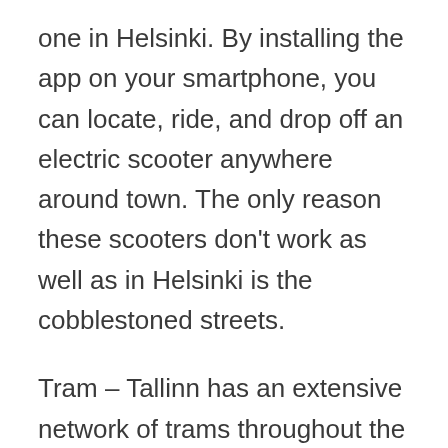one in Helsinki. By installing the app on your smartphone, you can locate, ride, and drop off an electric scooter anywhere around town. The only reason these scooters don't work as well as in Helsinki is the cobblestoned streets.
Tram – Tallinn has an extensive network of trams throughout the city. This is a good option if you want to explore suburbs further away from the Old Town, though if you are only here for a couple of days you probably won't venture so far out. Check out ticketing